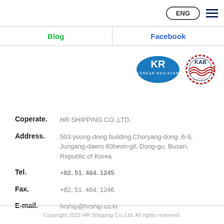ENG
Blog | Facebook
[Figure (logo): Korean Register (KR) oval blue logo and KAB circular accreditation logo]
Coperate. HR SHIPPING CO.,LTD.
Address. 503 young-dong building,Choryang-dong ,6-9, Jungang-daero 80beon-gil, Dong-gu, Busan, Republic of Korea
Tel. +82. 51. 464. 1245
Fax. +82. 51. 464. 1246
E-mail. hrship@hrship.co.kr
Copyright 2022 HR Shipping Co.,Ltd. All rights reserved.